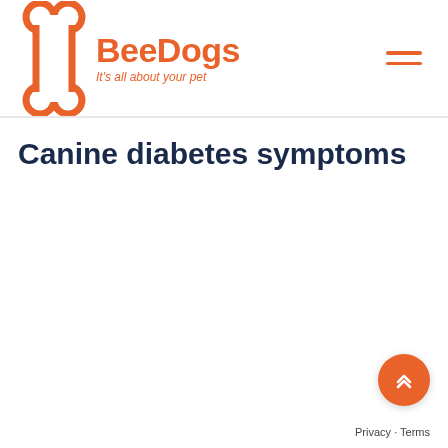BeeDogs – It's all about your pet
Canine diabetes symptoms
[Figure (illustration): Scroll-to-top button with double chevron up arrow, orange circle]
Privacy · Terms